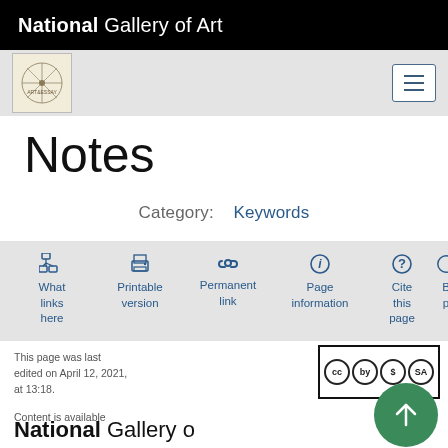National Gallery of Art
[Figure (logo): Navigation bar with exhibition logo image on left and hamburger menu button on right]
Notes
Category:   Keywords
What links here   Printable version   Permanent link   Page information   Cite this page
This page was last edited on April 12, 2021, at 13:18.
Content is available
[Figure (logo): Creative Commons license badge (CC BY-NC-SA icons)]
[Figure (logo): Scroll-to-top green circular button with upward arrow]
National Gallery of Art